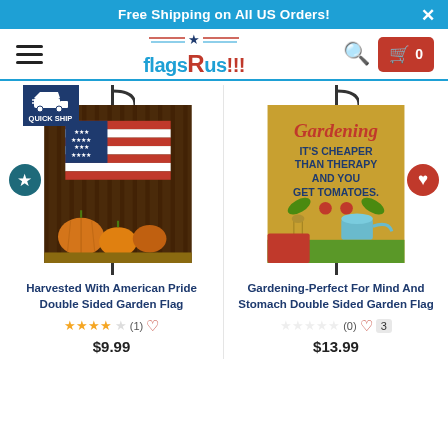Free Shipping on All US Orders!
[Figure (logo): FlagsRus!!! logo with American flag stars and stripes decoration, hamburger menu, search icon, and red cart button showing 0 items]
[Figure (photo): Garden flag on pole showing American flag with harvest scene - pumpkins and barn interior, with Quick Ship badge, blue star button on left]
Harvested With American Pride Double Sided Garden Flag
★★★★☆ (1) ♡
$9.99
[Figure (photo): Garden flag on pole showing Gardening - It's Cheaper Than Therapy And You Get Tomatoes text with garden tools illustration, red heart button on right]
Gardening-Perfect For Mind And Stomach Double Sided Garden Flag
☆☆☆☆☆ (0) ♡  3
$13.99